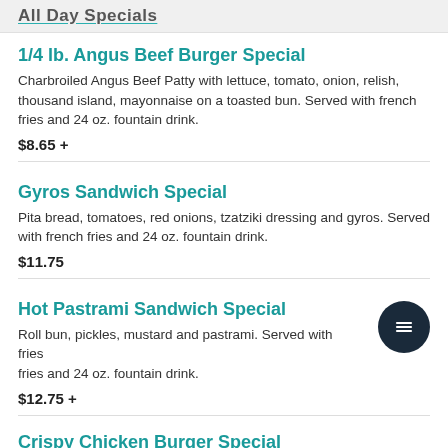All Day Specials
1/4 lb. Angus Beef Burger Special
Charbroiled Angus Beef Patty with lettuce, tomato, onion, relish, thousand island, mayonnaise on a toasted bun. Served with french fries and 24 oz. fountain drink.
$8.65 +
Gyros Sandwich Special
Pita bread, tomatoes, red onions, tzatziki dressing and gyros. Served with french fries and 24 oz. fountain drink.
$11.75
Hot Pastrami Sandwich Special
Roll bun, pickles, mustard and pastrami. Served with french fries and 24 oz. fountain drink.
$12.75 +
Crispy Chicken Burger Special